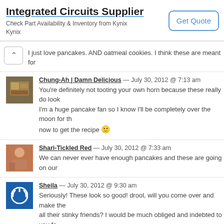[Figure (screenshot): Advertisement banner for Integrated Circuits Supplier - Kynix, with 'Get Quote' button]
I just love pancakes. AND oatmeal cookies. I think these are meant for
Chung-Ah | Damn Delicious — July 30, 2012 @ 7:13 am
You're definitely not tooting your own horn because these really do look... I'm a huge pancake fan so I know I'll be completely over the moon for th... now to get the recipe 🙂
Shari-Tickled Red — July 30, 2012 @ 7:33 am
We can never ever have enough pancakes and these are going on our
Sheila — July 30, 2012 @ 9:30 am
Seriously! These look so good! drool, will you come over and make the... all their stinky friends? I would be much obliged and indebted to you fo... a few months.
sally @ sallys baking addiction — July 30, 2012 @ 9:42 am
Yup, oatmeal cookies are my FAVORITE Cassie. I'm beginning to think